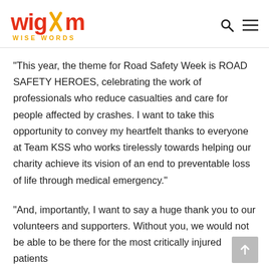wigwam WISE WORDS
“This year, the theme for Road Safety Week is ROAD SAFETY HEROES, celebrating the work of professionals who reduce casualties and care for people affected by crashes. I want to take this opportunity to convey my heartfelt thanks to everyone at Team KSS who works tirelessly towards helping our charity achieve its vision of an end to preventable loss of life through medical emergency.”
“And, importantly, I want to say a huge thank you to our volunteers and supporters. Without you, we would not be able to be there for the most critically injured patients